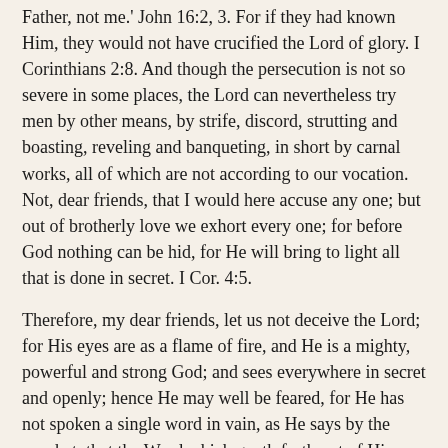Father, not me.' John 16:2, 3. For if they had known Him, they would not have crucified the Lord of glory. I Corinthians 2:8. And though the persecution is not so severe in some places, the Lord can nevertheless try men by other means, by strife, discord, strutting and boasting, reveling and banqueting, in short by carnal works, all of which are not according to our vocation. Not, dear friends, that I would here accuse any one; but out of brotherly love we exhort every one; for before God nothing can be hid, for He will bring to light all that is done in secret. I Cor. 4:5.
Therefore, my dear friends, let us not deceive the Lord; for His eyes are as a flame of fire, and He is a mighty, powerful and strong God; and sees everywhere in secret and openly; hence He may well be feared, for He has not spoken a single word in vain, as He says by the prophet, that the Word which goeth forth out of His mouth does not return unto Him void, but does accomplish all that He pleases. Rev. 1:14; Isa. 55:11.
My affectionately beloved brethren and sisters in the Lord, receive this letter from your poor, weak brother in good part; for it has been written at the request of some brethren, if peradventure you might be comforted and refreshed a little by our simple epistle, for we have written these few lines out of cordial affection, and because we should exhort one